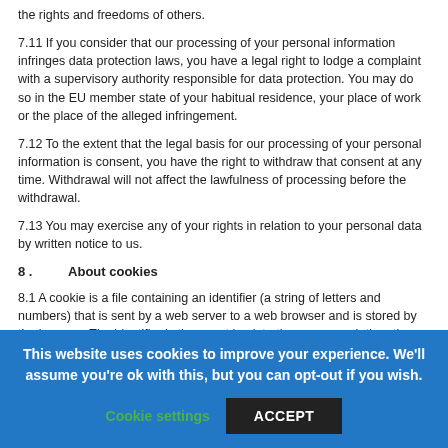the rights and freedoms of others.
7.11 If you consider that our processing of your personal information infringes data protection laws, you have a legal right to lodge a complaint with a supervisory authority responsible for data protection. You may do so in the EU member state of your habitual residence, your place of work or the place of the alleged infringement.
7.12 To the extent that the legal basis for our processing of your personal information is consent, you have the right to withdraw that consent at any time. Withdrawal will not affect the lawfulness of processing before the withdrawal.
7.13 You may exercise any of your rights in relation to your personal data by written notice to us.
8 .          About cookies
8.1 A cookie is a file containing an identifier (a string of letters and numbers) that is sent by a web server to a web browser and is stored by the browser. The identifier is then sent back to the server each time the browser requests a page from the server.
8.2 Cookies may be either "persistent" cookies or "session" cookies...
This website uses cookies to improve your experience. We'll assume you're ok with this, but you can opt-out if you wish.